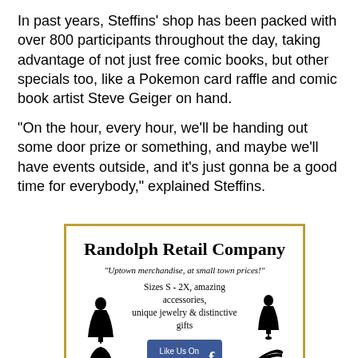In past years, Steffins' shop has been packed with over 800 participants throughout the day, taking advantage of not just free comic books, but other specials too, like a Pokemon card raffle and comic book artist Steve Geiger on hand.
“On the hour, every hour, we’ll be handing out some door prize or something, and maybe we’ll have events outside, and it’s just gonna be a good time for everybody,” explained Steffins.
[Figure (illustration): Advertisement for Randolph Retail Company. Gold-bordered box with company name in serif bold, tagline 'Uptown merchandise, at small town prices!', text about sizes S-2X amazing accessories, unique jewelry & distinctive gifts, silhouette images of dress forms, hat, high heel shoe, and a Facebook Like Us On button.]
x